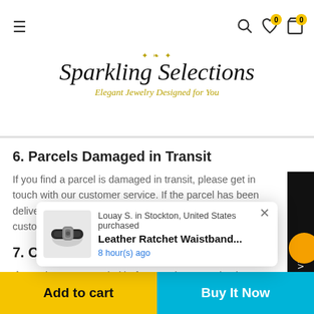[Figure (logo): Sparkling Selections logo with ornamental flourishes and tagline 'Elegant Jewelry Designed for You']
6. Parcels Damaged in Transit
If you find a parcel is damaged in transit, please get in touch with our customer service. If the parcel has been delivered without you being present, please contact customer service for the next steps.
7. Cancellations
If you change your mind before you have received your order, we are able to accept cancellations at any time before the order has been dispatched. If an order has alrea... canc...
[Figure (screenshot): Popup notification: Louay S. in Stockton, United States purchased Leather Ratchet Waistband... 8 hour(s) ago, with product image of a leather belt]
Add to cart
Buy It Now